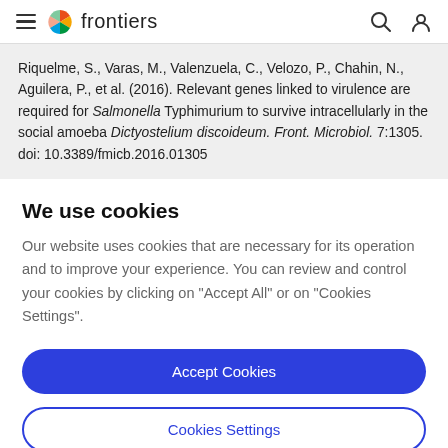frontiers
Riquelme, S., Varas, M., Valenzuela, C., Velozo, P., Chahin, N., Aguilera, P., et al. (2016). Relevant genes linked to virulence are required for Salmonella Typhimurium to survive intracellularly in the social amoeba Dictyostelium discoideum. Front. Microbiol. 7:1305. doi: 10.3389/fmicb.2016.01305
We use cookies
Our website uses cookies that are necessary for its operation and to improve your experience. You can review and control your cookies by clicking on "Accept All" or on "Cookies Settings".
Accept Cookies
Cookies Settings